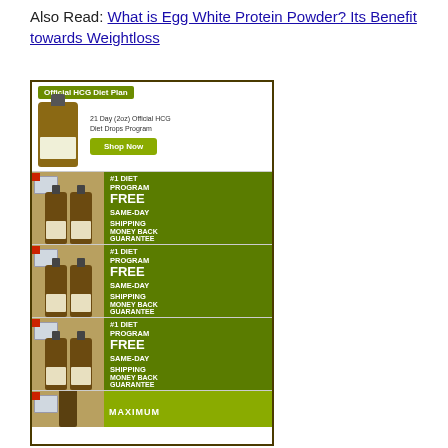Also Read: What is Egg White Protein Powder? Its Benefit towards Weightloss
[Figure (illustration): Advertisement for Official HCG Diet Plan showing multiple HCG diet drop product banners stacked vertically. Top section shows a bottle with '21 Day (2oz) Official HCG Diet Drops Program' and a green 'Shop Now' button. Below are repeated banner rows each showing two brown dropper bottles on the left and green text on the right reading '#1 DIET PROGRAM', 'FREE', 'SAME-DAY SHIPPING', 'MONEY BACK GUARANTEE'. The ad is enclosed in a dark bordered rectangle.]